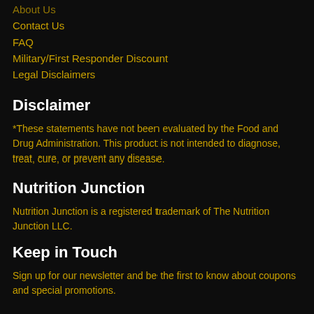About Us
Contact Us
FAQ
Military/First Responder Discount
Legal Disclaimers
Disclaimer
*These statements have not been evaluated by the Food and Drug Administration. This product is not intended to diagnose, treat, cure, or prevent any disease.
Nutrition Junction
Nutrition Junction is a registered trademark of The Nutrition Junction LLC.
Keep in Touch
Sign up for our newsletter and be the first to know about coupons and special promotions.